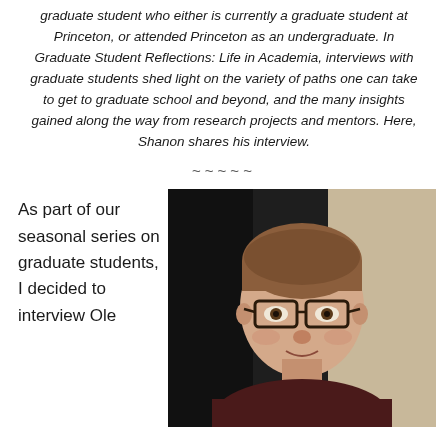graduate student who either is currently a graduate student at Princeton, or attended Princeton as an undergraduate. In Graduate Student Reflections: Life in Academia, interviews with graduate students shed light on the variety of paths one can take to get to graduate school and beyond, and the many insights gained along the way from research projects and mentors. Here, Shanon shares his interview.
~~~~~
As part of our seasonal series on graduate students, I decided to interview Ole
[Figure (photo): Portrait photo of a young man with brown hair, wearing glasses and a dark maroon shirt, smiling at the camera. Background appears to be an indoor setting with dark and light areas.]